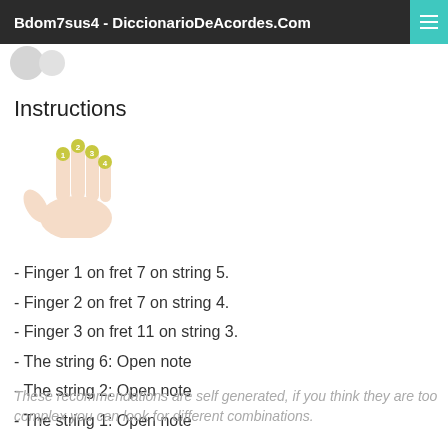Bdom7sus4 - DiccionarioDeAcordes.Com
Instructions
[Figure (illustration): Illustration of a hand with fingers numbered 1, 2, 3, 4 on the fingertips]
- Finger 1 on fret 7 on string 5.
- Finger 2 on fret 7 on string 4.
- Finger 3 on fret 11 on string 3.
- The string 6: Open note
- The string 2: Open note
- The string 1: Open note
These recommendations are self generated, if you think they are too complex you can look for different combinations.